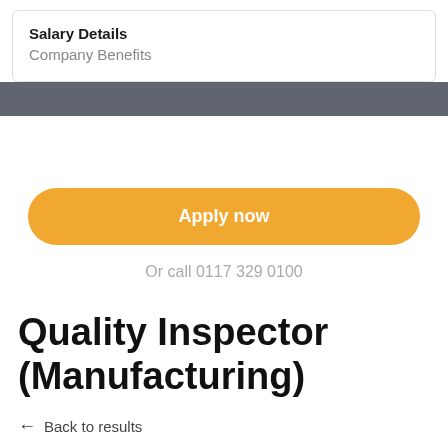Salary Details
Company Benefits
Apply now
Or call 0117 329 0100
Quality Inspector (Manufacturing)
← Back to results